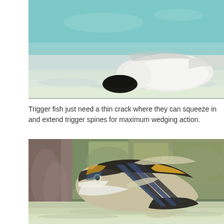[Figure (photo): Underwater photo of a white/pale trigger fish near a dark hole in sandy seafloor with turquoise water in background]
Trigger fish just need a thin crack where they can squeeze in and extend trigger spines for maximum wedging action.
[Figure (photo): Underwater photo of a picasso triggerfish with distinctive black, white, yellow and blue markings, hiding near coral rocks on sandy seafloor]